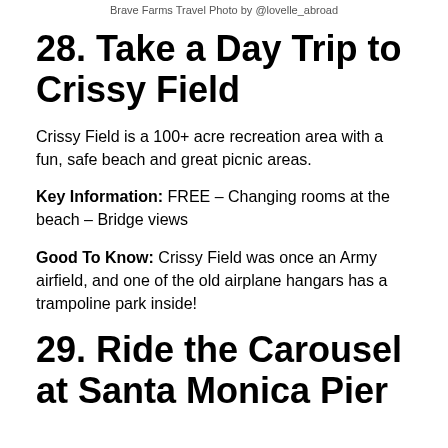Brave Farms Travel Photo by @lovelle_abroad
28. Take a Day Trip to Crissy Field
Crissy Field is a 100+ acre recreation area with a fun, safe beach and great picnic areas.
Key Information: FREE – Changing rooms at the beach – Bridge views
Good To Know: Crissy Field was once an Army airfield, and one of the old airplane hangars has a trampoline park inside!
29. Ride the Carousel at Santa Monica Pier